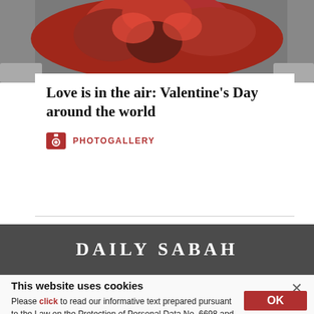[Figure (photo): Person holding a bouquet of red roses wrapped in decorative plastic, face partially obscured by the flowers]
Love is in the air: Valentine's Day around the world
PHOTOGALLERY
DAILY SABAH
This website uses cookies
Please click to read our informative text prepared pursuant to the Law on the Protection of Personal Data No. 6698 and to get information about the cookies used on our